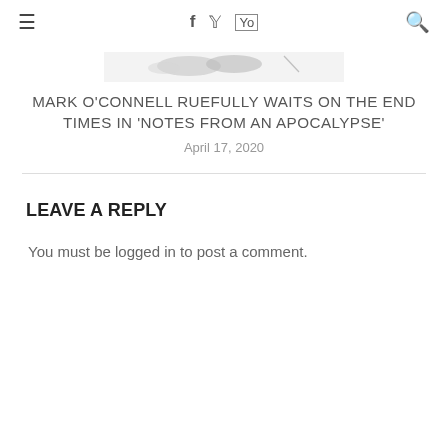≡  f  🐦  ▶  🔍
[Figure (photo): Partial book cover image cropped at top]
MARK O'CONNELL RUEFULLY WAITS ON THE END TIMES IN 'NOTES FROM AN APOCALYPSE'
April 17, 2020
LEAVE A REPLY
You must be logged in to post a comment.